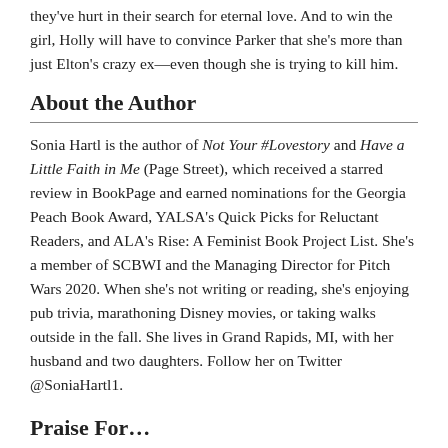they've hurt in their search for eternal love. And to win the girl, Holly will have to convince Parker that she's more than just Elton's crazy ex—even though she is trying to kill him.
About the Author
Sonia Hartl is the author of Not Your #Lovestory and Have a Little Faith in Me (Page Street), which received a starred review in BookPage and earned nominations for the Georgia Peach Book Award, YALSA's Quick Picks for Reluctant Readers, and ALA's Rise: A Feminist Book Project List. She's a member of SCBWI and the Managing Director for Pitch Wars 2020. When she's not writing or reading, she's enjoying pub trivia, marathoning Disney movies, or taking walks outside in the fall. She lives in Grand Rapids, MI, with her husband and two daughters. Follow her on Twitter @SoniaHartl1.
Praise For…